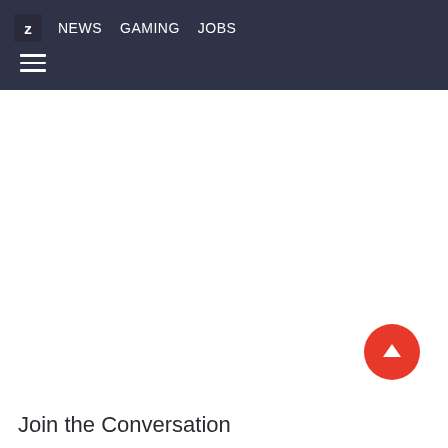Z NEWS GAMING JOBS
[Figure (screenshot): Hamburger menu icon (three horizontal lines) on dark navy header background]
[Figure (other): Red circular scroll-to-top button with white upward arrow]
Join the Conversation